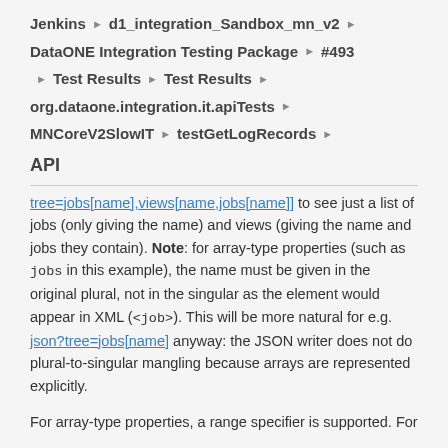Jenkins › d1_integration_Sandbox_mn_v2 › DataONE Integration Testing Package › #493 › Test Results › Test Results › org.dataone.integration.it.apiTests › MNCoreV2SlowIT › testGetLogRecords ›
API
tree=jobs[name],views[name,jobs[name]] to see just a list of jobs (only giving the name) and views (giving the name and jobs they contain). Note: for array-type properties (such as jobs in this example), the name must be given in the original plural, not in the singular as the element would appear in XML (<job>). This will be more natural for e.g. json?tree=jobs[name] anyway: the JSON writer does not do plural-to-singular mangling because arrays are represented explicitly.
For array-type properties, a range specifier is supported. For